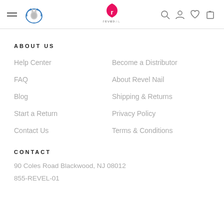Revel Nail website navigation header with hamburger menu, animal logo, Revel Nail logo, search, account, wishlist, cart icons
ABOUT US
Help Center
Become a Distributor
FAQ
About Revel Nail
Blog
Shipping & Returns
Start a Return
Privacy Policy
Contact Us
Terms & Conditions
CONTACT
90 Coles Road Blackwood, NJ 08012
855-REVEL-01